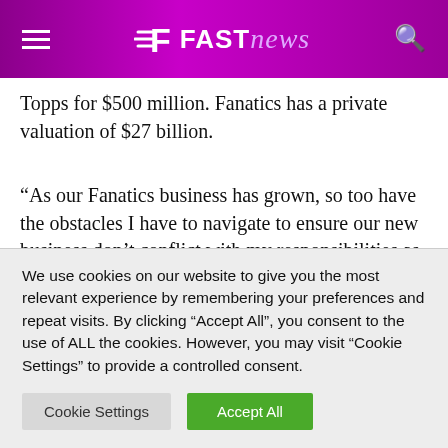FAST news
Topps for $500 million. Fanatics has a private valuation of $27 billion.
“As our Fanatics business has grown, so too have the obstacles I have to navigate to ensure our new business don’t conflict with my responsibilities as part-owner of the Sixers,” Rubin said in a statement posted on Twitter Wednesday announcing the sale of
We use cookies on our website to give you the most relevant experience by remembering your preferences and repeat visits. By clicking “Accept All”, you consent to the use of ALL the cookies. However, you may visit “Cookie Settings” to provide a controlled consent.